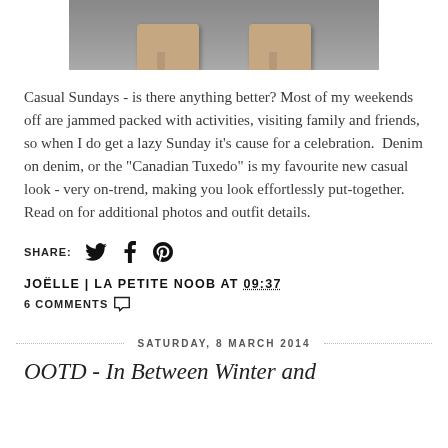[Figure (photo): Cropped photo showing someone's feet wearing nude/beige high heel pumps, standing on a grey surface. Only the lower portion of the image is visible.]
Casual Sundays - is there anything better? Most of my weekends off are jammed packed with activities, visiting family and friends, so when I do get a lazy Sunday it's cause for a celebration.  Denim on denim, or the "Canadian Tuxedo" is my favourite new casual look - very on-trend, making you look effortlessly put-together.  Read on for additional photos and outfit details.
SHARE:  [Twitter icon] [Facebook icon] [Pinterest icon]
JOËLLE | LA PETITE NOOB AT 09:37
6 COMMENTS [comment icon]
SATURDAY, 8 MARCH 2014
OOTD - In Between Winter and